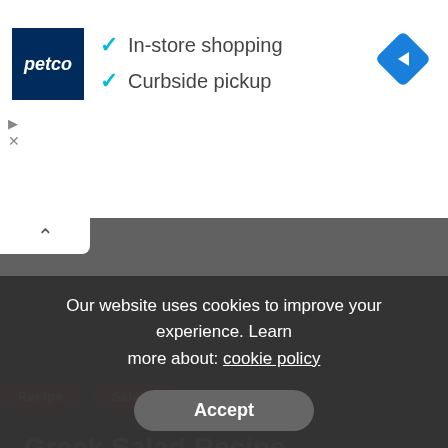[Figure (screenshot): Petco advertisement banner showing logo, in-store shopping and curbside pickup checkmarks, and a blue navigation diamond icon]
✓ In-store shopping
✓ Curbside pickup
Recipe   Salads
Greek Salad Recipe
August 31, 2020
Are you looking for a salad that is healthy and will help
Our website uses cookies to improve your experience. Learn more about: cookie policy
Accept